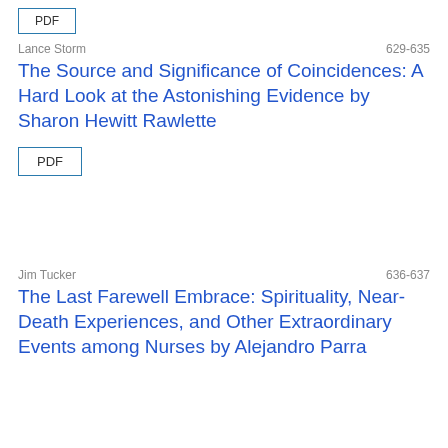[Figure (other): PDF button at top of page (partially visible)]
Lance Storm | 629-635
The Source and Significance of Coincidences: A Hard Look at the Astonishing Evidence by Sharon Hewitt Rawlette
[Figure (other): PDF button]
Jim Tucker | 636-637
The Last Farewell Embrace: Spirituality, Near-Death Experiences, and Other Extraordinary Events among Nurses by Alejandro Parra